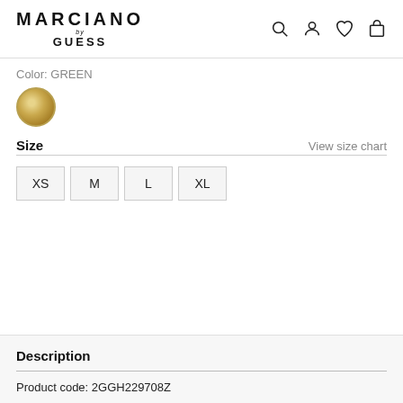MARCIANO by GUESS
Color: GREEN
[Figure (other): Green color swatch circle with gold/olive tones]
Size
View size chart
XS
M
L
XL
Description
Product code: 2GGH229708Z